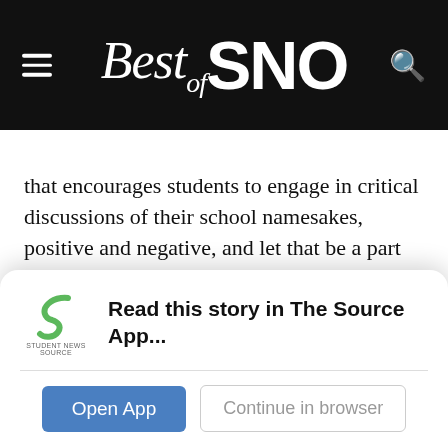Best of SNO
that encourages students to engage in critical discussions of their school namesakes, positive and negative, and let that be a part of their education.
A former student member on the Board of Education, Representative Troy Hashimoto explained the original intent of Act 51, created in 2004 to reinvent the way that schools are governed, with the establishment of a school community council. Board of Education’s Policy 301-8 asks each of the
[Figure (logo): Student News Source logo - green S shape with 'STUDENT NEWS SOURCE' text below]
Read this story in The Source App...
Open App
Continue in browser